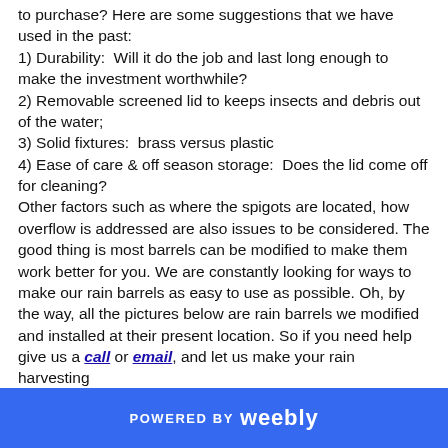to purchase? Here are some suggestions that we have used in the past:
1) Durability:  Will it do the job and last long enough to make the investment worthwhile?
2) Removable screened lid to keeps insects and debris out of the water;
3) Solid fixtures:  brass versus plastic
4) Ease of care & off season storage:  Does the lid come off for cleaning?
Other factors such as where the spigots are located, how overflow is addressed are also issues to be considered. The good thing is most barrels can be modified to make them work better for you. We are constantly looking for ways to make our rain barrels as easy to use as possible. Oh, by the way, all the pictures below are rain barrels we modified and installed at their present location. So if you need help give us a call or email, and let us make your rain harvesting
POWERED BY weebly